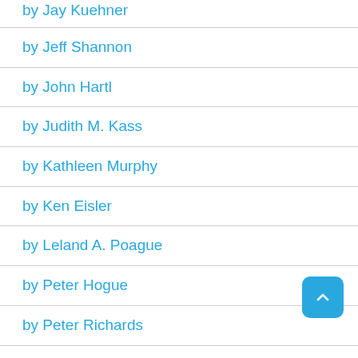by Jay Kuehner
by Jeff Shannon
by John Hartl
by Judith M. Kass
by Kathleen Murphy
by Ken Eisler
by Leland A. Poague
by Peter Hogue
by Peter Richards
by Pierre Greenfield